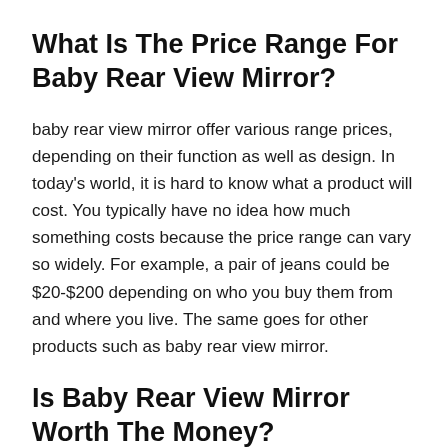What Is The Price Range For Baby Rear View Mirror?
baby rear view mirror offer various range prices, depending on their function as well as design. In today's world, it is hard to know what a product will cost. You typically have no idea how much something costs because the price range can vary so widely. For example, a pair of jeans could be $20-$200 depending on who you buy them from and where you live. The same goes for other products such as baby rear view mirror.
Is Baby Rear View Mirror Worth The Money?
There's no doubt that we live in a disposable